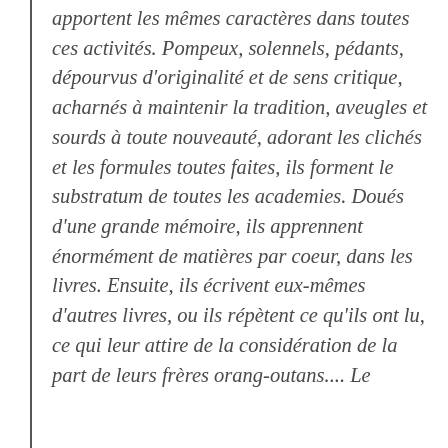apportent les mêmes caractères dans toutes ces activités. Pompeux, solennels, pédants, dépourvus d'originalité et de sens critique, acharnés à maintenir la tradition, aveugles et sourds à toute nouveauté, adorant les clichés et les formules toutes faites, ils forment le substratum de toutes les academies. Doués d'une grande mémoire, ils apprennent énormément de matières par coeur, dans les livres. Ensuite, ils écrivent eux-mêmes d'autres livres, ou ils répètent ce qu'ils ont lu, ce qui leur attire de la considération de la part de leurs frères orang-outans.... Le